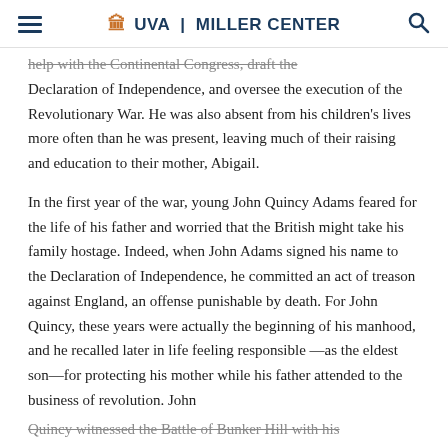UVA | MILLER CENTER
help with the Continental Congress, draft the Declaration of Independence, and oversee the execution of the Revolutionary War. He was also absent from his children's lives more often than he was present, leaving much of their raising and education to their mother, Abigail.
In the first year of the war, young John Quincy Adams feared for the life of his father and worried that the British might take his family hostage. Indeed, when John Adams signed his name to the Declaration of Independence, he committed an act of treason against England, an offense punishable by death. For John Quincy, these years were actually the beginning of his manhood, and he recalled later in life feeling responsible —as the eldest son—for protecting his mother while his father attended to the business of revolution. John Quincy witnessed the Battle of Bunker Hill with his...